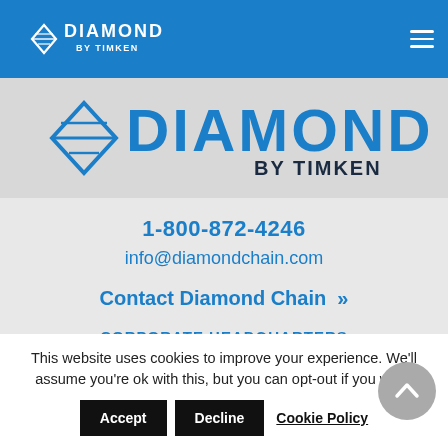[Figure (logo): Diamond by Timken logo in white on blue navigation bar, top left]
[Figure (logo): Large Diamond by Timken logo on gray background below nav bar]
1-800-872-4246
info@diamondchain.com
Contact Diamond Chain »
CORPORATE HEADQUARTERS
402 Kentucky Avenue
Indianapolis, IN 46225
This website uses cookies to improve your experience. We'll assume you're ok with this, but you can opt-out if you wish.
Accept
Decline
Cookie Policy